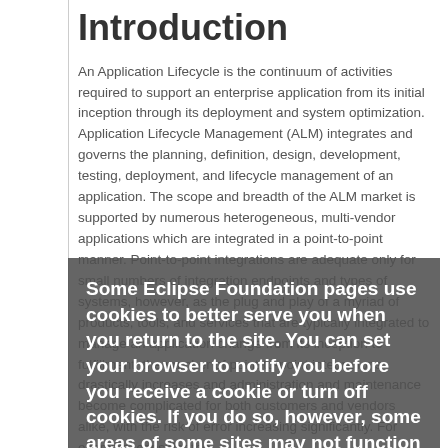Introduction
An Application Lifecycle is the continuum of activities required to support an enterprise application from its initial inception through its deployment and system optimization. Application Lifecycle Management (ALM) integrates and governs the planning, definition, design, development, testing, deployment, and lifecycle management of an application. The scope and breadth of the ALM market is supported by numerous heterogeneous, multi-vendor applications which are integrated in a point-to-point manner. Point-to-point integrations are adequate only for small numbers of integration endpoints and types of systems, however, as the plug and play of a myriad of products, tools, and services that are typically integrated to manage an application change from its inception to fulfillment, the number of point-to-point integrations drastically increases and administration and maintenance become complicated for both customers and vendors alike, with the risk of error increasing significantly. For example, consider the
Some Eclipse Foundation pages use cookies to better serve you when you return to the site. You can set your browser to notify you before you receive a cookie or turn off cookies. If you do so, however, some areas of some sites may not function properly. To read Eclipse Foundation Privacy Policy click here.
Decline
Allow cookies